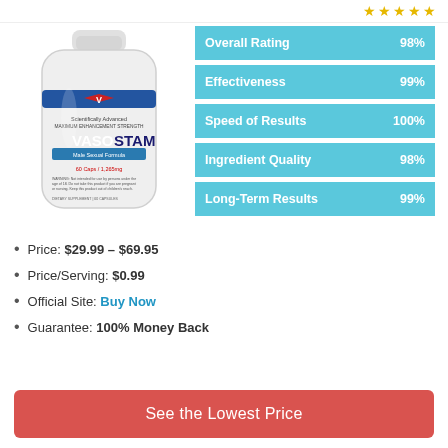★★★★★
[Figure (photo): VASOSTAM supplement bottle – white capsule bottle with blue and red label showing 'VASOSTAM Maximum Enhancement Strength']
| Category | Score |
| --- | --- |
| Overall Rating | 98% |
| Effectiveness | 99% |
| Speed of Results | 100% |
| Ingredient Quality | 98% |
| Long-Term Results | 99% |
Price: $29.99 – $69.95
Price/Serving: $0.99
Official Site: Buy Now
Guarantee: 100% Money Back
See the Lowest Price